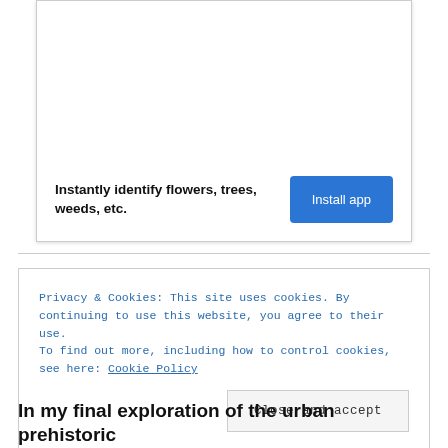[Figure (other): Advertisement box with white background and border. Contains bold text 'Instantly identify flowers, trees, weeds, etc.' and a blue 'Install app' button.]
Privacy & Cookies: This site uses cookies. By continuing to use this website, you agree to their use.
To find out more, including how to control cookies, see here: Cookie Policy
Close and accept
In my final exploration of the urban prehistoric